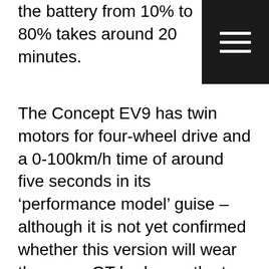the battery from 10% to 80% takes around 20 minutes.
[Figure (other): Hamburger menu icon — three white horizontal lines on a black square background, top-right corner]
The Concept EV9 has twin motors for four-wheel drive and a 0-100km/h time of around five seconds in its ‘performance model’ guise – although it is not yet confirmed whether this version will wear the same GT badge as the top-rung 430kW version of the EV6.